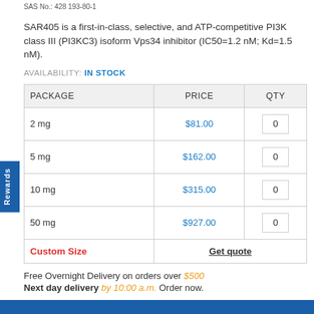SAS No.: 428 193-80-1
SAR405 is a first-in-class, selective, and ATP-competitive PI3K class III (PI3KC3) isoform Vps34 inhibitor (IC50=1.2 nM; Kd=1.5 nM).
AVAILABILITY: IN STOCK
| PACKAGE | PRICE | QTY |
| --- | --- | --- |
| 2 mg | $81.00 | 0 |
| 5 mg | $162.00 | 0 |
| 10 mg | $315.00 | 0 |
| 50 mg | $927.00 | 0 |
| Custom Size | Get quote |  |
Free Overnight Delivery on orders over $500
Next day delivery by 10:00 a.m. Order now.